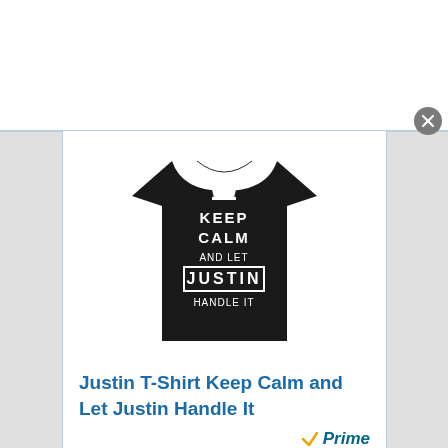[Figure (photo): Black t-shirt with 'Keep Calm and Let Justin Handle It' text and crown graphic]
Justin T-Shirt Keep Calm and Let Justin Handle It
[Figure (logo): Amazon Prime badge with checkmark and 'Prime' text, plus yellow 'View Product' button with Amazon 'a' logo]